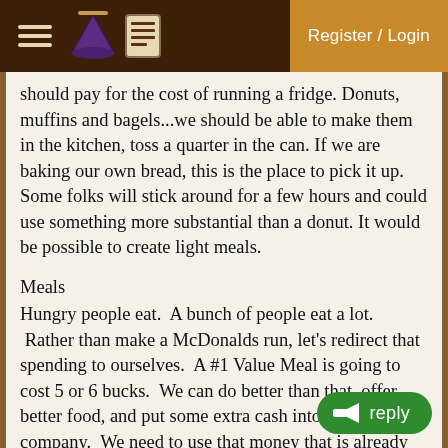Register / Login
should pay for the cost of running a fridge.  Donuts, muffins and bagels...we should be able to make them in the kitchen, toss a quarter in the can.  If we are baking our own bread, this is the place to pick it up.  Some folks will stick around for a few hours and could use something more substantial than a donut.  It would be possible to create light meals.
Meals
Hungry people eat.  A bunch of people eat a lot.  Rather than make a McDonalds run, let's redirect that spending to ourselves.  A #1 Value Meal is going to cost 5 or 6 bucks.  We can do better than that, offer better food, and put some extra cash into the company.  We need to use that money that is already being spent.  As the project gets going, a regular pattern of people would be expected.  Evenings and weekends would see more people than weekday mornings and afternoons.  If some of the group will be around for a few hours, putting together a quick meal